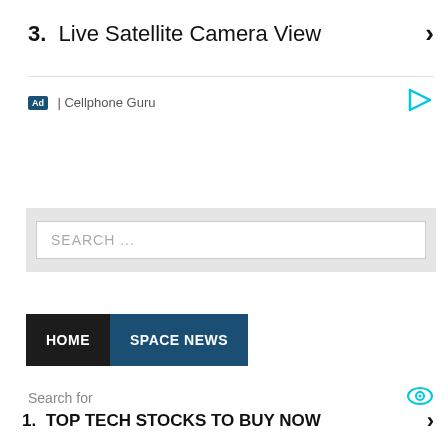3. Live Satellite Camera View ›
Ad | Cellphone Guru
[Figure (other): Play button icon (cyan triangle outline)]
[Figure (other): Search input box with placeholder SEARCH ...]
HOME  SPACE NEWS
Search for
[Figure (other): Eye icon (cyan)]
1. TOP TECH STOCKS TO BUY NOW ›
2. CRAWL SPACE DEHUMIDIFIER ›
Ad | Cellphone Guru
[Figure (other): Play button icon (cyan triangle outline)]